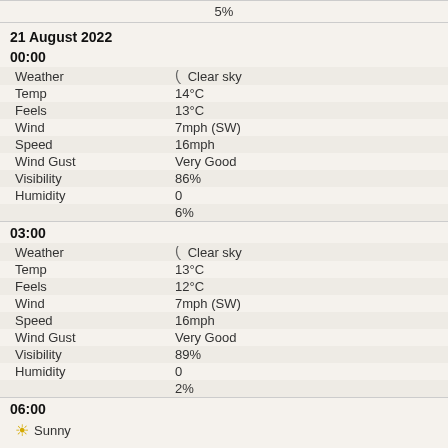5%
21 August 2022
00:00
| Weather | Clear sky |
| Temp | 14°C |
| Feels | 13°C |
| Wind | 7mph (SW) |
| Speed | 16mph |
| Wind Gust | Very Good |
| Visibility | 86% |
| Humidity | 0 |
|  | 6% |
03:00
| Weather | Clear sky |
| Temp | 13°C |
| Feels | 12°C |
| Wind | 7mph (SW) |
| Speed | 16mph |
| Wind Gust | Very Good |
| Visibility | 89% |
| Humidity | 0 |
|  | 2% |
06:00
Sunny